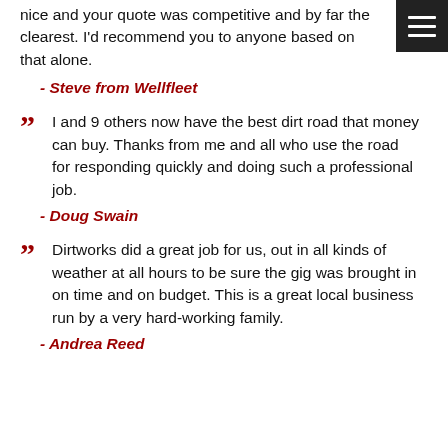nice and your quote was competitive and by far the clearest. I'd recommend you to anyone based on that alone.
- Steve from Wellfleet
I and 9 others now have the best dirt road that money can buy. Thanks from me and all who use the road for responding quickly and doing such a professional job.
- Doug Swain
Dirtworks did a great job for us, out in all kinds of weather at all hours to be sure the gig was brought in on time and on budget. This is a great local business run by a very hard-working family.
- Andrea Reed